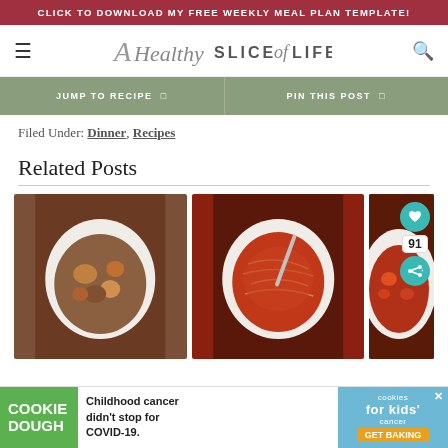CLICK TO DOWNLOAD MY FREE WEEKLY MEAL PLAN TEMPLATE!
[Figure (logo): A Healthy Slice of LIFE blog logo with hamburger menu and search icon]
JUMP TO RECIPE  |  PIN THIS POST
Filed Under: Dinner, Recipes
Related Posts
[Figure (photo): Three food photos side by side: beef stew with vegetables on white plate, spaghetti with red meat sauce and fork on white plate, and a tomato-based soup/stew on white plate]
[Figure (infographic): Advertisement banner: Cookie Dough - Childhood cancer didn't stop for COVID-19. cookies for kids' cancer GET BAKING]